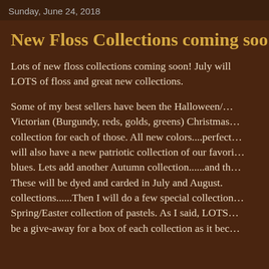Sunday, June 24, 2018
New Floss Collections coming so…
Lots of new floss collections coming soon! July will bring LOTS of floss and great new collections.

Some of my best sellers have been the Halloween/... Victorian (Burgundy, reds, golds, greens) Christmas... collection for each of those. All new colors....perfect... will also have a new patriotic collection of our favori... blues. Lets add another Autumn collection......and th... These will be dyed and carded in July and August. collections......Then I will do a few special collection... Spring/Easter collection of pastels. As I said, LOTS... be a give-away for a box of each collection as it bec...